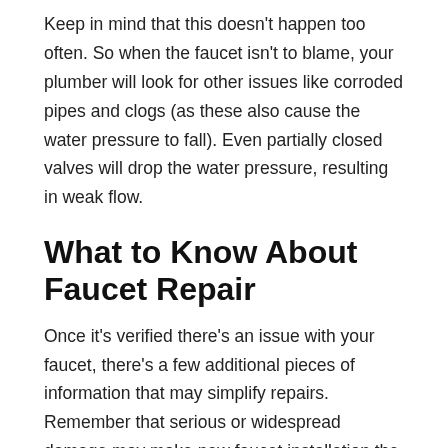Keep in mind that this doesn't happen too often. So when the faucet isn't to blame, your plumber will look for other issues like corroded pipes and clogs (as these also cause the water pressure to fall). Even partially closed valves will drop the water pressure, resulting in weak flow.
What to Know About Faucet Repair
Once it's verified there's an issue with your faucet, there's a few additional pieces of information that may simplify repairs. Remember that serious or widespread damage may make new faucet installation the better option. Otherwise, it won't be long before you're stuck with another plumbing problem.